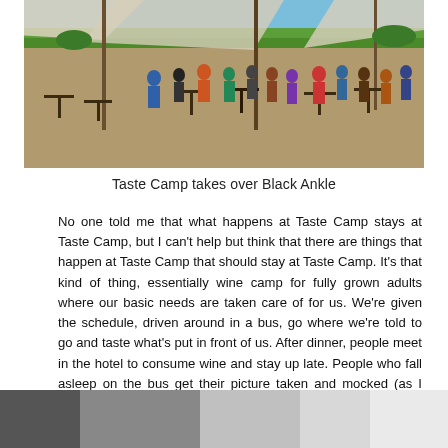[Figure (photo): Panoramic outdoor photo of Taste Camp at Black Ankle vineyard, showing people gathered around tables under shade sails, with green fields and blue sky in the background.]
Taste Camp takes over Black Ankle
No one told me that what happens at Taste Camp stays at Taste Camp, but I can't help but think that there are things that happen at Taste Camp that should stay at Taste Camp. It's that kind of thing, essentially wine camp for fully grown adults where our basic needs are taken care of for us. We're given the schedule, driven around in a bus, go where we're told to go and taste what's put in front of us. After dinner, people meet in the hotel to consume wine and stay up late. People who fall asleep on the bus get their picture taken and mocked (as I learned firsthand), inside jokes develop at supersonic speed, and practical jokes aren't uncouth. So what happens at Taste Camp stays at Taste Camp seems like an appropriate rule.
[Figure (photo): Partial photo at the bottom of the page, appears to show an interior or blurred scene in grey tones.]